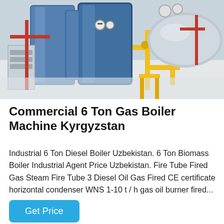[Figure (photo): Industrial gas boiler room with large blue cylindrical boilers, yellow and red piping, valves, and gauges on a white floor in a factory setting.]
Commercial 6 Ton Gas Boiler Machine Kyrgyzstan
Industrial 6 Ton Diesel Boiler Uzbekistan. 6 Ton Biomass Boiler Industrial Agent Price Uzbekistan. Fire Tube Fired Gas Steam Fire Tube 3 Diesel Oil Gas Fired CE certificate horizontal condenser WNS 1-10 t / h gas oil burner fired...
Get Price